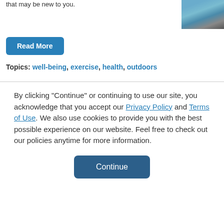that may be new to you.
[Figure (photo): Outdoor water scene, partial view in top right corner]
Read More
Topics: well-being, exercise, health, outdoors
By clicking "Continue" or continuing to use our site, you acknowledge that you accept our Privacy Policy and Terms of Use. We also use cookies to provide you with the best possible experience on our website. Feel free to check out our policies anytime for more information.
Continue